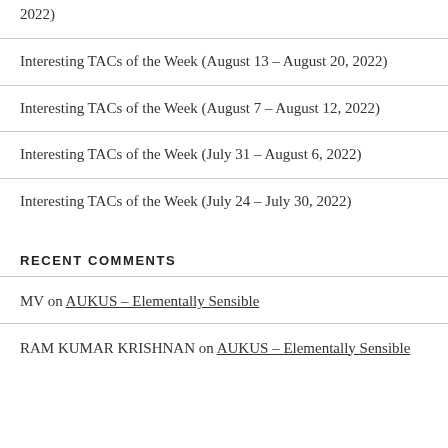2022)
Interesting TACs of the Week (August 13 – August 20, 2022)
Interesting TACs of the Week (August 7 – August 12, 2022)
Interesting TACs of the Week (July 31 – August 6, 2022)
Interesting TACs of the Week (July 24 – July 30, 2022)
RECENT COMMENTS
MV on AUKUS – Elementally Sensible
RAM KUMAR KRISHNAN on AUKUS – Elementally Sensible